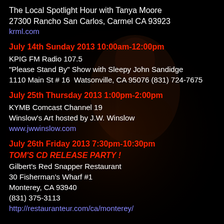[Figure (photo): Dark background photo of a musician playing guitar on stage, dimly lit in dark red/brown tones]
The Local Spotlight Hour with Tanya Moore
27300 Rancho San Carlos, Carmel CA 93923
krml.com
July 14th Sunday 2013 10:00am-12:00pm
KPIG FM Radio 107.5
"Please Stand By" Show with Sleepy John Sandidge
1110 Main St # 16  Watsonville, CA 95076 (831) 724-7675
July 25th Thursday 2013 1:00pm-2:00pm
KYMB Comcast Channel 19
Winslow's Art hosted by J.W. Winslow
www.jwwinslow.com
July 26th Friday 2013 7:30pm-10:30pm
TOM'S CD RELEASE PARTY !
Gilbert's Red Snapper Restaurant
30 Fisherman's Wharf #1
Monterey, CA 93940
(831) 375-3113
http://restauranteur.com/ca/monterey/